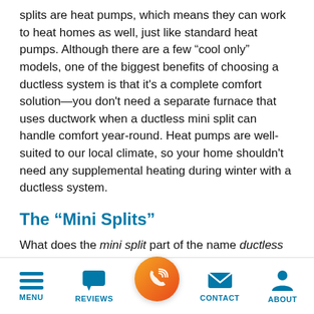splits are heat pumps, which means they can work to heat homes as well, just like standard heat pumps. Although there are a few “cool only” models, one of the biggest benefits of choosing a ductless system is that it's a complete comfort solution—you don't need a separate furnace that uses ductwork when a ductless mini split can handle comfort year-round. Heat pumps are well-suited to our local climate, so your home shouldn't need any supplemental heating during winter with a ductless system.
The “Mini Splits”
What does the mini split part of the name ductless mini split heat pump mean? It refers to the small wall-mounted units that allow a ductless HVAC to
MENU | REVIEWS | [CALL] | CONTACT | ABOUT